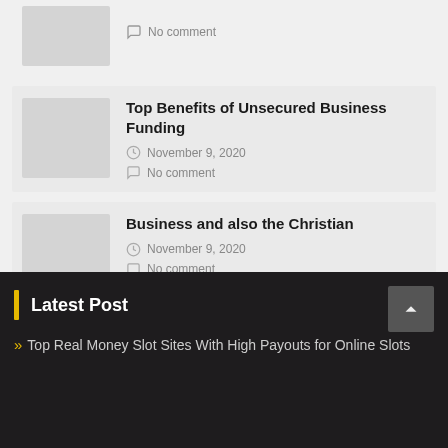No comment
Top Benefits of Unsecured Business Funding
November 9, 2020
No comment
Business and also the Christian
November 9, 2020
No comment
Latest Post
Top Real Money Slot Sites With High Payouts for Online Slots